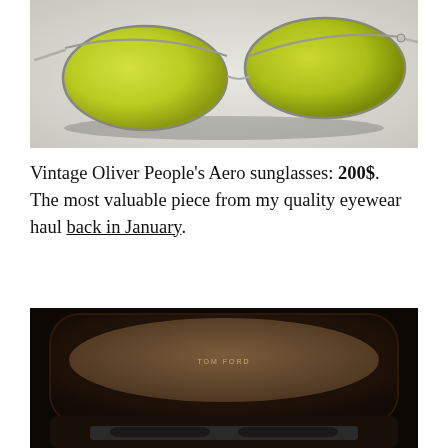[Figure (photo): Vintage Oliver People's Aero sunglasses with yellow-green tinted oval lenses and silver metal frame, photographed from a slight angle on a light gray background.]
Vintage Oliver People's Aero sunglasses: 200$. The most valuable piece from my quality eyewear haul back in January.
[Figure (photo): Open dark brown TOM FORD eyewear case shown from above with sunglasses visible at the bottom, on a white background.]